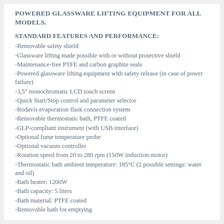POWERED GLASSWARE LIFTING EQUIPMENT FOR ALL MODELS.
STANDARD FEATURES AND PERFORMANCE:
-Removable safety shield
-Glassware lifting made possible with or without protective shield
-Maintenance-free PTFE and carbon graphite seals
-Powered glassware lifting equipment with safety release (in case of power failure)
-3,5" monochromatic LCD touch screen
-Quick Start/Stop control and parameter selector
-Rodavis evaporation flask connection system
-Removable thermostatic bath, PTFE coated
-GLP-compliant instrument (with USB interface)
-Optional fume temperature probe
-Optional vacuum controller
-Rotation speed from 20 to 280 rpm (150W induction motor)
-Thermostatic bath ambient temperature: 185°C (2 possible settings: water and oil)
-Bath heater: 1200W
-Bath capacity: 5 liters
-Bath material: PTFE coated
-Removable bath for emptying